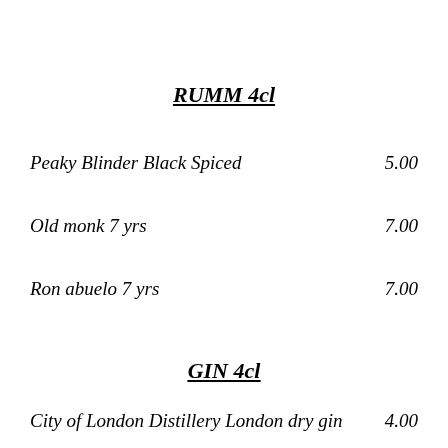RUMM 4cl
Peaky Blinder Black Spiced    5.00
Old monk 7 yrs    7.00
Ron abuelo 7 yrs    7.00
GIN 4cl
City of London Distillery London dry gin    4.00